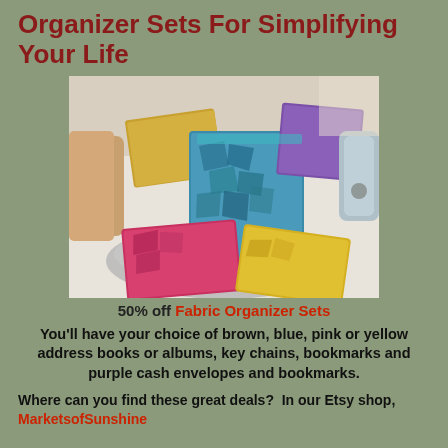Organizer Sets For Simplifying Your Life
[Figure (photo): Photo of colorful fabric organizer sets — blue, purple, pink/red, yellow patterned fabric books/pouches arranged on a silver tray and white surface]
50% off Fabric Organizer Sets
You'll have your choice of brown, blue, pink or yellow address books or albums, key chains, bookmarks and purple cash envelopes and bookmarks.
Where can you find these great deals?  In our Etsy shop, MarketsofSunshine